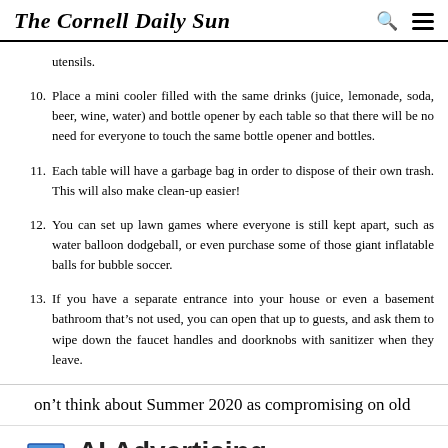The Cornell Daily Sun
utensils.
10. Place a mini cooler filled with the same drinks (juice, lemonade, soda, beer, wine, water) and bottle opener by each table so that there will be no need for everyone to touch the same bottle opener and bottles.
11. Each table will have a garbage bag in order to dispose of their own trash. This will also make clean-up easier!
12. You can set up lawn games where everyone is still kept apart, such as water balloon dodgeball, or even purchase some of those giant inflatable balls for bubble soccer.
13. If you have a separate entrance into your house or even a basement bathroom that’s not used, you can open that up to guests, and ask them to wipe down the faucet handles and doorknobs with sanitizer when they leave.
on’t think about Summer 2020 as compromising on old
[Figure (other): AI Advertising banner ad with text 'AI Advertising', 'Reach Your Audience', and 'Sta...' CTA button, with a small monitor illustration]